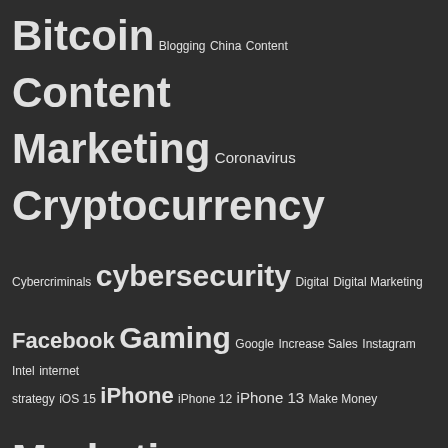[Figure (infographic): Tag cloud on dark background showing various technology and marketing topics with varying font sizes indicating frequency/importance. Tags include: Bitcoin, Blogging, China, Content, Content Marketing, Coronavirus, Cryptocurrency, Cybercriminals, cybersecurity, Digital, Digital Marketing, Facebook, Gaming, Google, Increase Sales, Instagram, Intel, internet strategy, iOS 15, iPhone, iPhone 12, iPhone 13, Make Money, Marketing, Microsoft, Nvidia, Online Marketing, Samsung, Science, Search engine optimization, Seo, SEO optimization by content, Social Media, Social networks, Technology, TikTok, Twitter, Windows 11, YouTube]